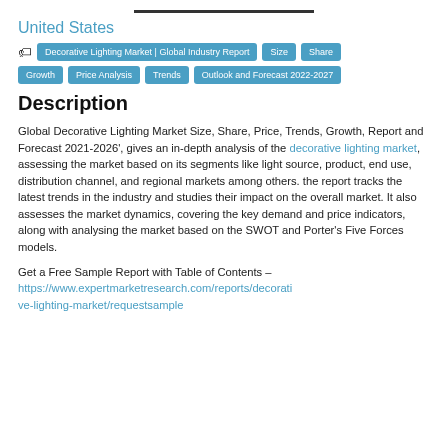United States
Decorative Lighting Market | Global Industry Report | Size | Share | Growth | Price Analysis | Trends | Outlook and Forecast 2022-2027
Description
Global Decorative Lighting Market Size, Share, Price, Trends, Growth, Report and Forecast 2021-2026', gives an in-depth analysis of the decorative lighting market, assessing the market based on its segments like light source, product, end use, distribution channel, and regional markets among others. the report tracks the latest trends in the industry and studies their impact on the overall market. It also assesses the market dynamics, covering the key demand and price indicators, along with analysing the market based on the SWOT and Porter's Five Forces models.
Get a Free Sample Report with Table of Contents – https://www.expertmarketresearch.com/reports/decorative-lighting-market/requestsample